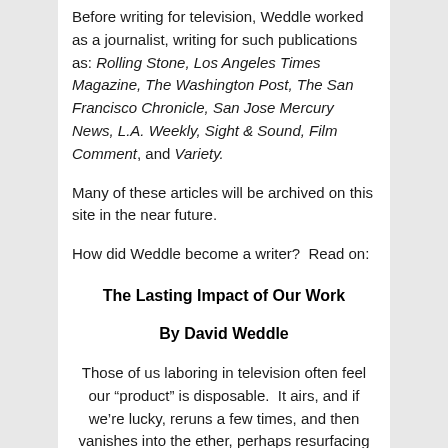Before writing for television, Weddle worked as a journalist, writing for such publications as: Rolling Stone, Los Angeles Times Magazine, The Washington Post, The San Francisco Chronicle, San Jose Mercury News, L.A. Weekly, Sight & Sound, Film Comment, and Variety.
Many of these articles will be archived on this site in the near future.
How did Weddle become a writer?  Read on:
The Lasting Impact of Our Work
By David Weddle
Those of us laboring in television often feel our “product” is disposable.  It airs, and if we’re lucky, reruns a few times, and then vanishes into the ether, perhaps resurfacing in the back pages of video catalogues amid box sets of other long forgotten television programs.  We try to be philosophical about it, consoling ourselves with the fact that we really did have an impact on...